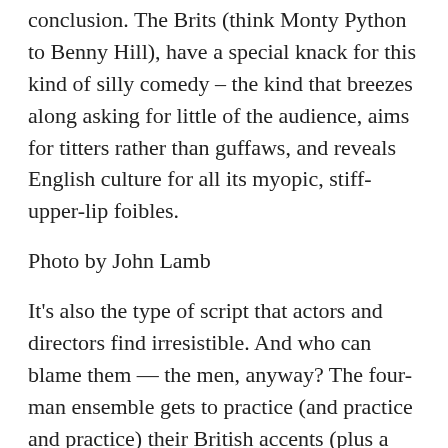conclusion. The Brits (think Monty Python to Benny Hill), have a special knack for this kind of silly comedy – the kind that breezes along asking for little of the audience, aims for titters rather than guffaws, and reveals English culture for all its myopic, stiff-upper-lip foibles.
Photo by John Lamb
It's also the type of script that actors and directors find irresistible. And who can blame them — the men, anyway? The four-man ensemble gets to practice (and practice and practice) their British accents (plus a few other world dialects) while quick-changing into the play's 25 male and female characters